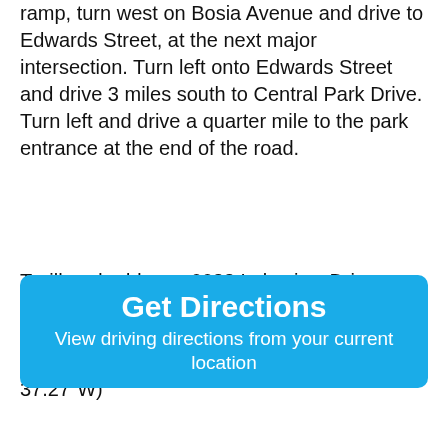ramp, turn west on Bosia Avenue and drive to Edwards Street, at the next major intersection. Turn left onto Edwards Street and drive 3 miles south to Central Park Drive. Turn left and drive a quarter mile to the park entrance at the end of the road.
Trailhead address: 6622 Lakeview Drive, Huntington Beach, CA 92648
Trailhead coordinates: 33.69929, -118.010354 (33° 41′ 57.44″N 118° 00′ 37.27″W)
[Figure (other): Blue button with white text: 'Get Directions' and subtitle 'View driving directions from your current location']